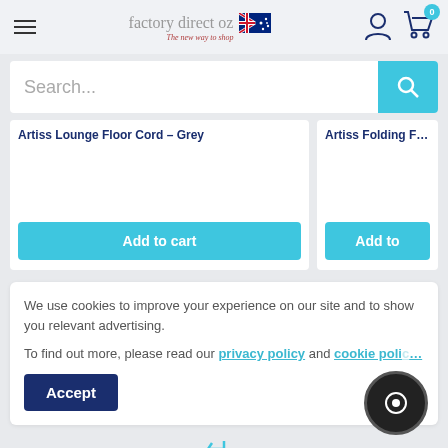factory direct oz — The new way to shop
Search...
Artiss Lounge Floor Cord – Grey
Add to cart
Artiss Folding Floor
Add to
We use cookies to improve your experience on our site and to show you relevant advertising.

To find out more, please read our privacy policy and cookie policy
Accept